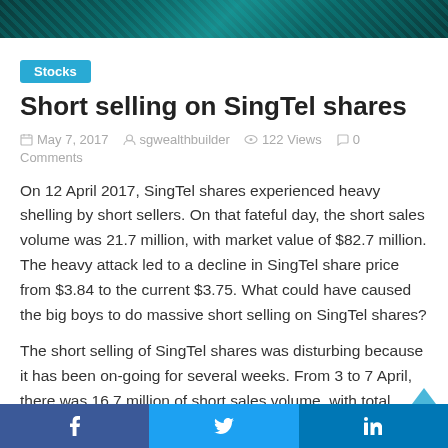[Figure (photo): Dark teal stock market chart header image with diagonal line patterns]
Stocks
Short selling on SingTel shares
May 7, 2017   sgwealthbuilder   122 Views   0 Comments
On 12 April 2017, SingTel shares experienced heavy shelling by short sellers. On that fateful day, the short sales volume was 21.7 million, with market value of $82.7 million. The heavy attack led to a decline in SingTel share price from $3.84 to the current $3.75. What could have caused the big boys to do massive short selling on SingTel shares?
The short selling of SingTel shares was disturbing because it has been on-going for several weeks. From 3 to 7 April, there was 16.7 million of short sales volume, with total value of $65.4 million. The week before it was 21.7 million
f   t   in